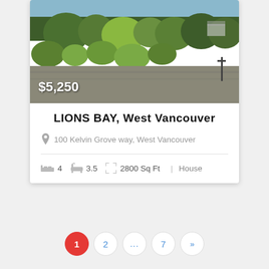[Figure (photo): Outdoor landscape photo showing trees, garden shrubs, and a paved area, likely from a residential property listing. Price overlay '$5,250' in white bold text at bottom left.]
LIONS BAY, West Vancouver
100 Kelvin Grove way, West Vancouver
4   3.5   2800 Sq Ft   | House